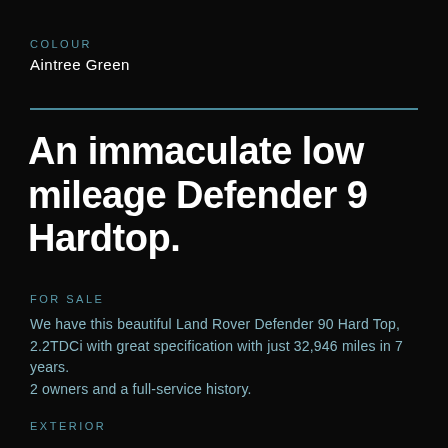COLOUR
Aintree Green
An immaculate low mileage Defender 9 Hardtop.
FOR SALE
We have this beautiful Land Rover Defender 90 Hard Top, 2.2TDCi with great specification with just 32,946 miles in 7 years.
2 owners and a full-service history.
EXTERIOR